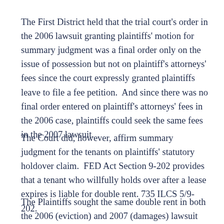The First District held that the trial court's order in the 2006 lawsuit granting plaintiffs' motion for summary judgment was a final order only on the issue of possession but not on plaintiff's attorneys' fees since the court expressly granted plaintiffs leave to file a fee petition.  And since there was no final order entered on plaintiff's attorneys' fees in the 2006 case, plaintiffs could seek the same fees in the 2007 lawsuit.
The Court did, however, affirm summary judgment for the tenants on plaintiffs' statutory holdover claim.  FED Act Section 9-202 provides that a tenant who willfully holds over after a lease expires is liable for double rent. 735 ILCS 5/9-202.
The Plaintiffs sought the same double rent in both the 2006 (eviction) and 2007 (damages) lawsuit and